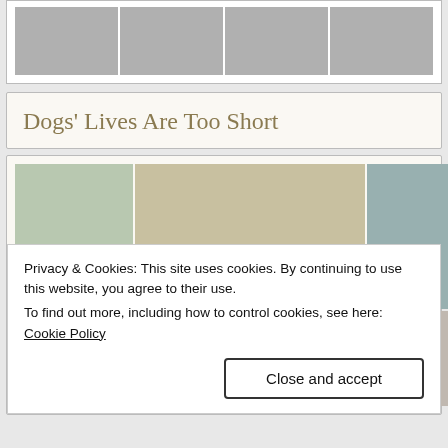[Figure (photo): Strip of four dog photos at top of page — white dogs in various settings]
Dogs' Lives Are Too Short
[Figure (photo): Grid of dog photos: fluffy white dog face, puppy on couch, white poodle on boat, lake scene with dog, sunset scene, dog on pillow]
Privacy & Cookies: This site uses cookies. By continuing to use this website, you agree to their use.
To find out more, including how to control cookies, see here: Cookie Policy
Close and accept